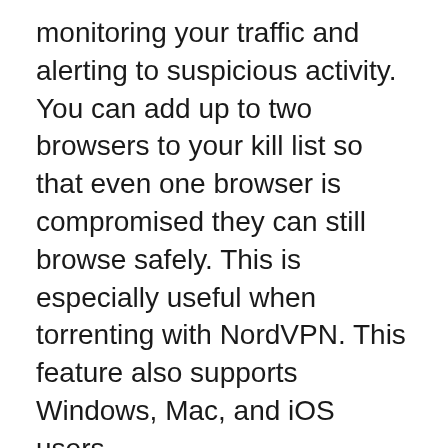monitoring your traffic and alerting to suspicious activity. You can add up to two browsers to your kill list so that even one browser is compromised they can still browse safely. This is especially useful when torrenting with NordVPN. This feature also supports Windows, Mac, and iOS users.
NordVPN offers apps for Android TV and Apple TV. Each of these apps is easy to install, and the main features of each are the same. You don't get a map or a list of servers, but you'll still be able to connect to any website with ease. This is the best VPN for your Android device. You'll be able to surf the internet and enjoy all its features.
The company's data breach was caused by